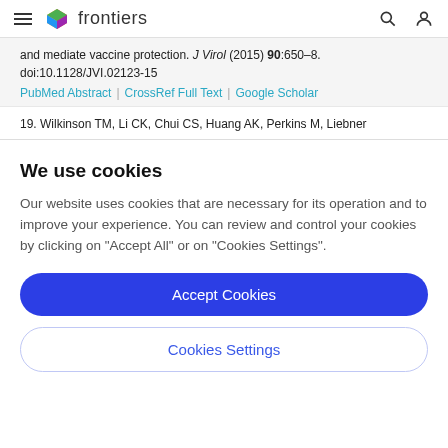frontiers
and mediate vaccine protection. J Virol (2015) 90:650–8. doi:10.1128/JVI.02123-15
PubMed Abstract | CrossRef Full Text | Google Scholar
19. Wilkinson TM, Li CK, Chui CS, Huang AK, Perkins M, Liebner
We use cookies
Our website uses cookies that are necessary for its operation and to improve your experience. You can review and control your cookies by clicking on "Accept All" or on "Cookies Settings".
Accept Cookies
Cookies Settings